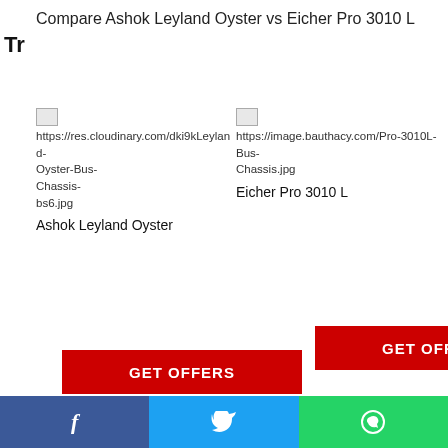Compare Ashok Leyland Oyster vs Eicher Pro 3010 L
Tr
[Figure (screenshot): Two vehicle images side by side with broken image icons and URLs for Ashok Leyland Oyster Bus Chassis bs6.jpg and Eicher Pro 3010L Bus Chassis.jpg]
GET OFFERS
GET OFFERS
| Rear Overhang | 2981  mm |
Features &
[Figure (screenshot): Social share bar with Facebook, Twitter, WhatsApp icons]